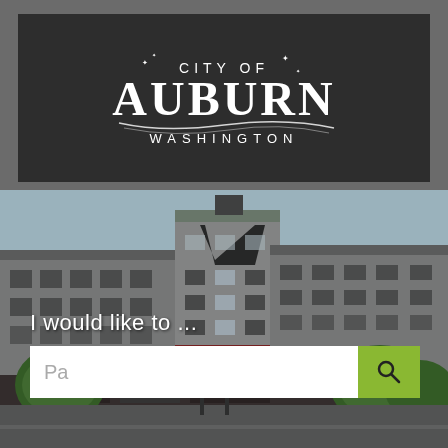[Figure (logo): City of Auburn Washington official logo — white text on dark background with decorative swoosh]
[Figure (photo): Aerial/elevated view of downtown Auburn, Washington showing a multi-story mixed-use building with residential balconies, street-level retail, trees, traffic lights, and pedestrians]
I would like to ...
Pa